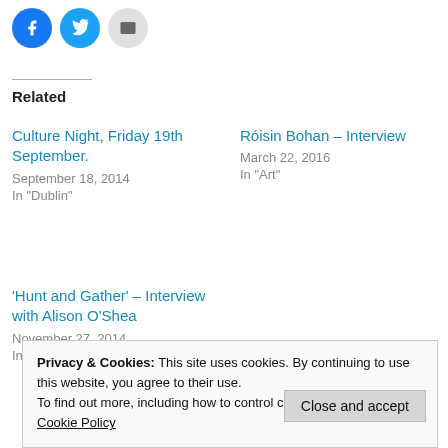[Figure (illustration): Three social share buttons: Facebook (blue circle), Twitter (blue circle), Email (grey circle)]
Related
Culture Night, Friday 19th September.
September 18, 2014
In "Dublin"
Róisin Bohan – Interview
March 22, 2016
In "Art"
'Hunt and Gather' – Interview with Alison O'Shea
November 27, 2014
In "Contemporary"
Privacy & Cookies: This site uses cookies. By continuing to use this website, you agree to their use.
To find out more, including how to control cookies, see here: Cookie Policy
Close and accept